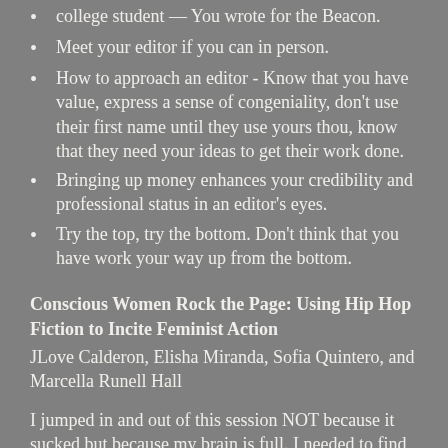college student — You wrote for the Beacon.
Meet your editor if you can in person.
How to approach an editor - Know that you have value, express a sense of congeniality, don't use their first name until they use yours thou, know that they need your ideas to get their work done.
Bringing up money enhances your credibility and professional status in an editor's eyes.
Try the top, try the bottom. Don't think that you have work your way up from the bottom.
Conscious Women Rock the Page: Using Hip Hop Fiction to Incite Feminist Action
JLove Calderon, Elisha Miranda, Sofia Quintero, and Marcella Runell Hall
I jumped in and out of this session NOT because it sucked but because my brain is full. I needed to find a place to chill out a bit before brunch.